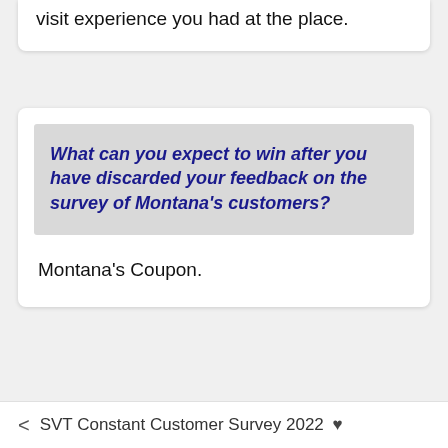visit experience you had at the place.
What can you expect to win after you have discarded your feedback on the survey of Montana's customers?
Montana's Coupon.
< SVT Constant Customer Survey 2022 ♥